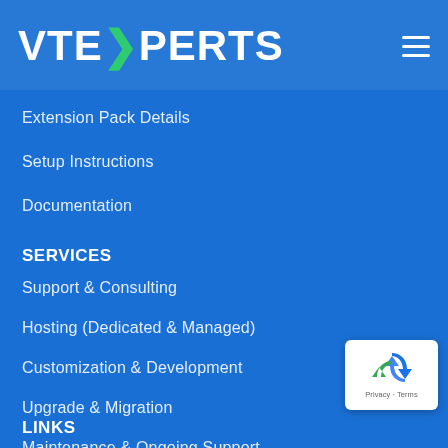VTEXPERTS
Extension Pack Details
Setup Instructions
Documentation
SERVICES
Support & Consulting
Hosting (Dedicated & Managed)
Customization & Development
Upgrade & Migration
Maintenance & Ongoing Support
[Figure (logo): reCAPTCHA badge with recycle-arrow icon, Privacy and Terms links]
LINKS